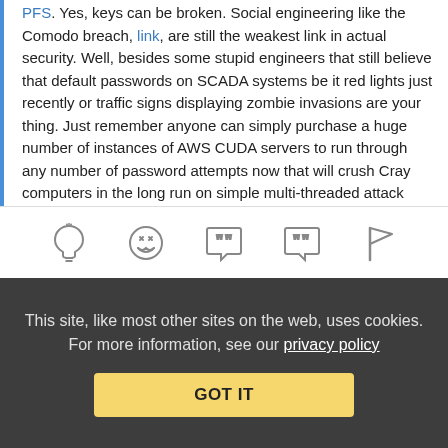PFS. Yes, keys can be broken. Social engineering like the Comodo breach, link, are still the weakest link in actual security. Well, besides some stupid engineers that still believe that default passwords on SCADA systems be it red lights just recently or traffic signs displaying zombie invasions are your thing. Just remember anyone can simply purchase a huge number of instances of AWS CUDA servers to run through any number of password attempts now that will crush Cray computers in the long run on simple multi-threaded attack vectors.
Reply | View in chronology
[Figure (infographic): Row of five icons: lightbulb, laughing emoji, open-quote speech bubble, close-quote speech bubble, flag]
This site, like most other sites on the web, uses cookies. For more information, see our privacy policy
GOT IT